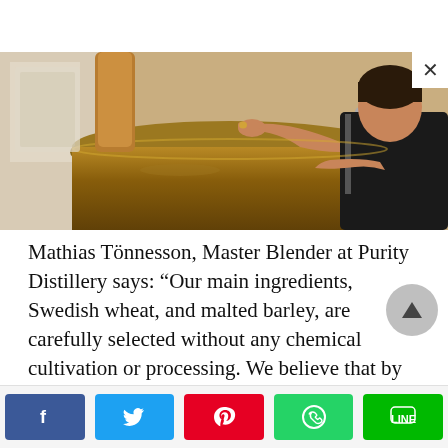[Figure (photo): Mathias Tönnesson, Master Blender at Purity Distillery, leaning over distillery equipment — a large copper and metal still — examining it closely with one hand raised near his face. He wears a black t-shirt and an apron.]
Mathias Tönnesson, Master Blender at Purity Distillery says: “Our main ingredients, Swedish wheat, and malted barley, are carefully selected without any chemical cultivation or processing. We believe that by using organic ingredients it creates a much better tasting vodka, and of course, is better for the environment. We also value the quality of